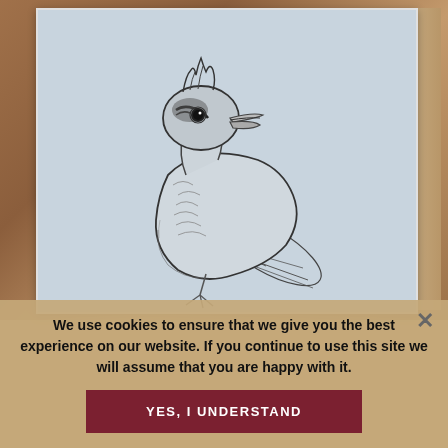[Figure (illustration): Pencil sketch of a blue jay bird drawn in a sketchbook, shown from chest up with beak open, detailed feather rendering, placed on a wooden surface background]
We use cookies to ensure that we give you the best experience on our website. If you continue to use this site we will assume that you are happy with it.
YES, I UNDERSTAND